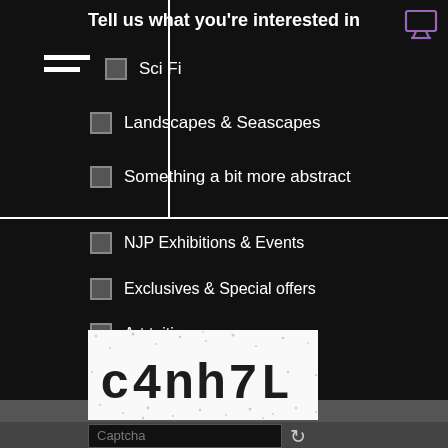Tell us what you're interested in
Sci Fi
Landscapes & Seascapes
Something a bit more abstract
NJP Exhibitions & Events
Exclusives & Special offers
Art tuition
I agree... *
By pressing submit, you agree to be emailed by NJP Pastel Art with news and offers. (We will not pass your details on and you are of course free to unsubscribe at any time)
[Figure (other): CAPTCHA image showing distorted text 'c4nh7L' on white noisy background]
Captcha